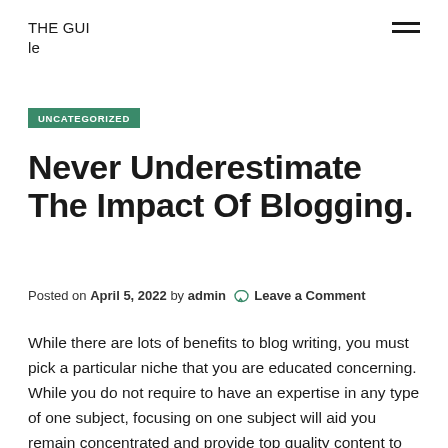THE GUI
le
UNCATEGORIZED
Never Underestimate The Impact Of Blogging.
Posted on April 5, 2022 by admin  Leave a Comment
While there are lots of benefits to blog writing, you must pick a particular niche that you are educated concerning. While you do not require to have an expertise in any type of one subject, focusing on one subject will aid you remain concentrated and provide top quality content to your readers. Creating a blog can be a strenuous job. However, there are numerous ways you can increase the amount of web traffic to your blog, consisting of using